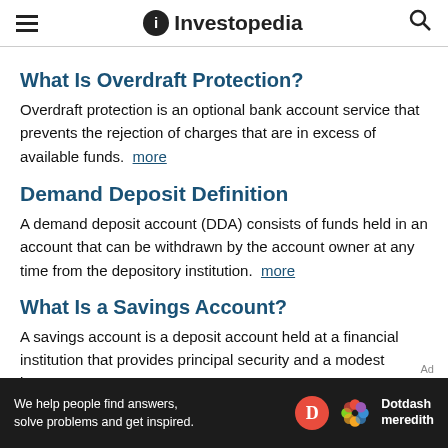Investopedia
What Is Overdraft Protection?
Overdraft protection is an optional bank account service that prevents the rejection of charges that are in excess of available funds. more
Demand Deposit Definition
A demand deposit account (DDA) consists of funds held in an account that can be withdrawn by the account owner at any time from the depository institution. more
What Is a Savings Account?
A savings account is a deposit account held at a financial institution that provides principal security and a modest interest rate. more
What Is an Automated Teller Machine...
[Figure (other): Dotdash Meredith advertisement banner at bottom of page]